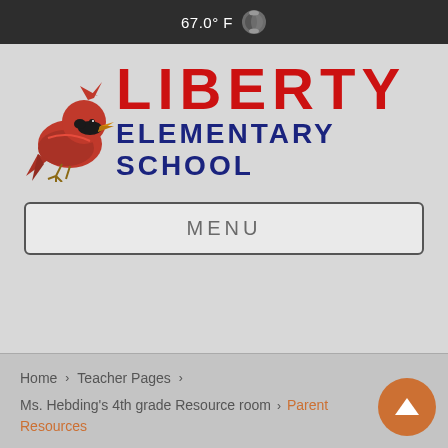67.0° F
[Figure (logo): Liberty Elementary School logo with red cardinal bird and school name in red and dark blue text]
MENU
Home › Teacher Pages › Ms. Hebding's 4th grade Resource room › Parent Resources